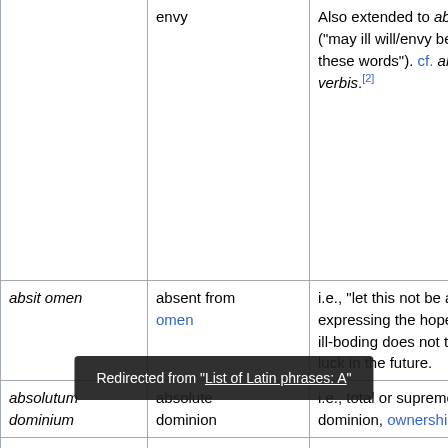| Latin term | Translation | Notes |
| --- | --- | --- |
|  | envy | Also extended to absit inv… ("may ill will/envy be abse… these words"). cf. absit ini… verbis.[2] |
| absit omen | absent from omen | i.e., "let this not be a bad … expressing the hope that … ill-boding does not turn ou… luck in the future. |
| absolutum dominium | absolute dominion | i.e., total or supreme pow… dominion, ownership, or s… |
| abs… |  | Legal term pronounced by… order to acquit a defendan… their trial. Te absolvo or a… ("I forgive you") is said by… …the Sacrament of Confession |
Redirected from "List of Latin phrases: A"